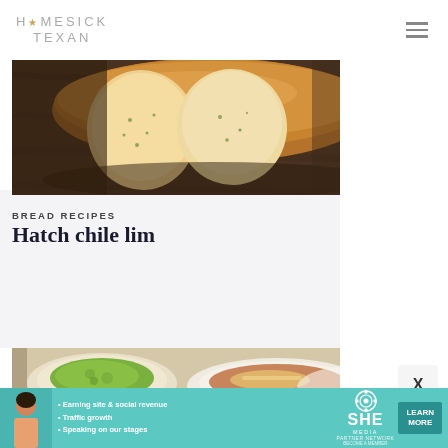HOMESICK TEXAN
[Figure (photo): Sliced herb bread loaf on wooden cutting board, close-up overhead view showing golden crust and soft interior with green herb flecks]
BREAD RECIPES
Hatch chile lim...
[Figure (photo): Bowl of green guacamole and a bowl of soup or stew with cheese, overhead view on white plates]
[Figure (infographic): SHE Media Partner Network advertisement banner with woman photo, bullet points about earning site and social revenue, traffic growth, speaking on stages, and Learn More button]